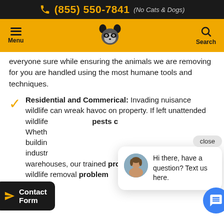(855) 550-7841 (No Cats & Dogs)
Menu | [raccoon logo] | Search
everyone sure while ensuring the animals we are removing for you are handled using the most humane tools and techniques.
Residential and Commerical: Invading nuisance wildlife can wreak havoc on property. If left unattended wildlife pests c[an cause damage]... Whether [residential] buildings [or] industrial... warehouses, our trained professionals can handle any wildlife removal problem...
[Figure (screenshot): Chat popup with avatar photo of a woman and text: 'Hi there, have a question? Text us here.' with a close button]
Contact Form
[Figure (other): Blue circular chat bubble button with message icon]